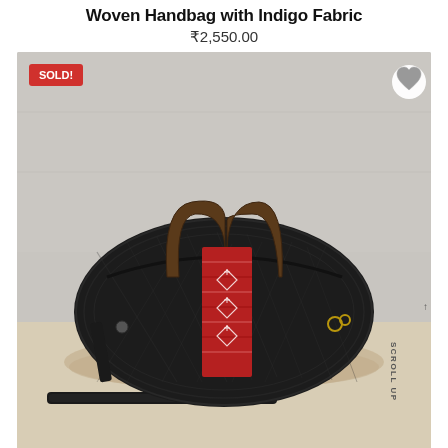Woven Handbag with Indigo Fabric
₹2,550.00
[Figure (photo): A black woven handbag with dark wooden handles and a red indigo fabric panel in the center featuring traditional patterns. A crossbody strap is attached and shown below the bag. A 'SOLD!' badge appears in the top-left corner of the image. A heart/wishlist icon button is in the top-right corner. Text 'SCROLL UP' with an arrow appears on the right edge.]